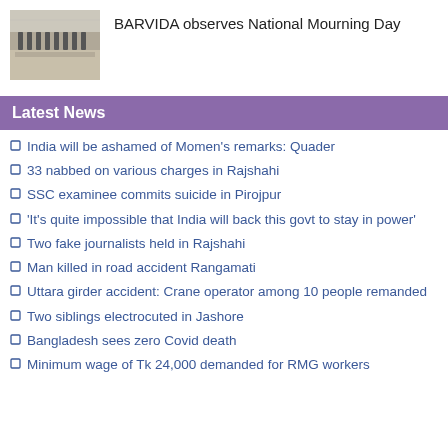[Figure (photo): Black and white photo of a group of people in white uniforms standing in a room]
BARVIDA observes National Mourning Day
Latest News
India will be ashamed of Momen's remarks: Quader
33 nabbed on various charges in Rajshahi
SSC examinee commits suicide in Pirojpur
'It's quite impossible that India will back this govt to stay in power'
Two fake journalists held in Rajshahi
Man killed in road accident Rangamati
Uttara girder accident: Crane operator among 10 people remanded
Two siblings electrocuted in Jashore
Bangladesh sees zero Covid death
Minimum wage of Tk 24,000 demanded for RMG workers